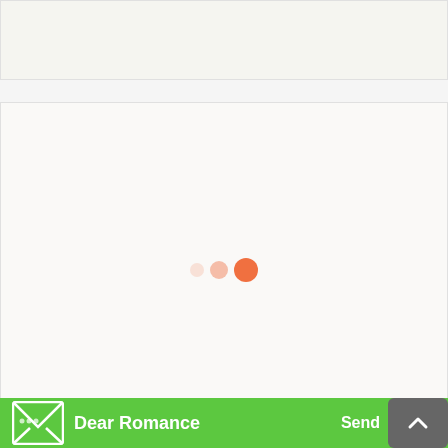[Figure (screenshot): Top banner area - light beige/gray empty banner region]
[Figure (screenshot): Main content area with loading spinner animation - three dots in increasing size and opacity (light orange, medium orange, solid orange) centered in a light beige box]
[Figure (screenshot): Bottom green navigation bar with envelope icon, 'Dear Romance' text, 'Send' button, hearts icon, and a gray scroll-to-top button with up chevron arrow]